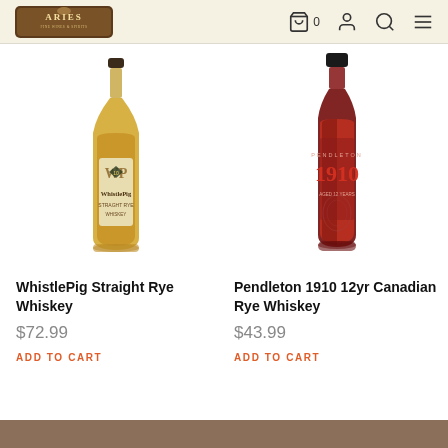Aries Fine Wines & Spirits — navigation header with logo, cart, account, search, menu icons
[Figure (photo): Bottle of WhistlePig Straight Rye Whiskey 10 year — tall amber bottle with cream label showing WP monogram and eagle, dark cap]
WhistlePig Straight Rye Whiskey
$72.99
ADD TO CART
[Figure (photo): Bottle of Pendleton 1910 12yr Canadian Rye Whiskey — dark bottle with deep red embossed label showing '1910' in large numerals, black cap]
Pendleton 1910 12yr Canadian Rye Whiskey
$43.99
ADD TO CART